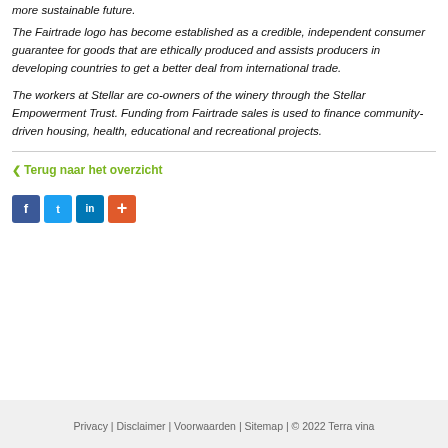more sustainable future.
The Fairtrade logo has become established as a credible, independent consumer guarantee for goods that are ethically produced and assists producers in developing countries to get a better deal from international trade.
The workers at Stellar are co-owners of the winery through the Stellar Empowerment Trust. Funding from Fairtrade sales is used to finance community- driven housing, health, educational and recreational projects.
❮ Terug naar het overzicht
[Figure (other): Social share buttons: Facebook (blue), Twitter (light blue), LinkedIn (blue), More (orange with plus sign)]
Privacy | Disclaimer | Voorwaarden | Sitemap | © 2022 Terra vina